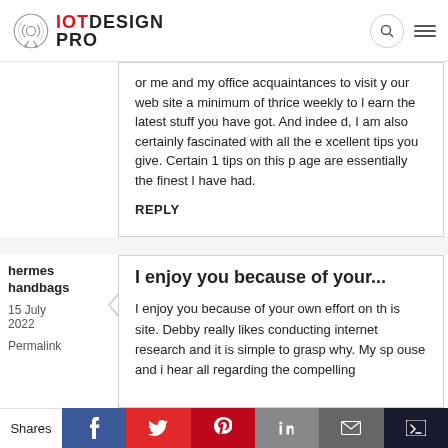IOT DESIGN PRO
or me and my office acquaintances to visit your web site a minimum of thrice weekly to learn the latest stuff you have got. And indeed, I am also certainly fascinated with all the excellent tips you give. Certain 1 tips on this page are essentially the finest I have had.
REPLY
hermes handbags
15 July 2022
Permalink
I enjoy you because of your...
I enjoy you because of your own effort on this site. Debby really likes conducting internet research and it is simple to grasp why. My spouse and i hear all regarding the compelling
Shares